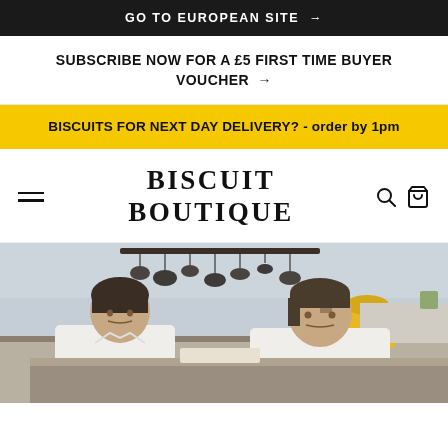GO TO EUROPEAN SITE →
SUBSCRIBE NOW FOR A £5 FIRST TIME BUYER VOUCHER →
BISCUITS FOR NEXT DAY DELIVERY? - order by 1pm
BISCUIT BOUTIQUE
[Figure (photo): Two chefs in white uniforms working intently in a professional kitchen, with hanging pots and pans visible in the background. A yellow stand mixer is visible on the counter.]